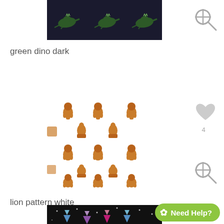[Figure (photo): Green dinosaur pattern on dark background fabric swatch thumbnail]
[Figure (illustration): Zoom/magnify icon (gray circle with plus and magnifying glass)]
green dino dark
[Figure (photo): Lion pattern on white background fabric swatch thumbnail showing repeating lions and camels]
[Figure (illustration): Gray heart icon with like count 4]
[Figure (illustration): Zoom/magnify icon (gray circle with plus and magnifying glass)]
lion pattern white
[Figure (photo): Dark background fabric with colorful crystals/gems pattern at bottom]
Need Help?